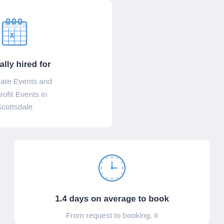[Figure (illustration): Blue calendar icon with an X marked on a date]
Typically hired for
Corporate Events and Nonprofit Events in Scottsdale
[Figure (illustration): Blue clock icon showing a time]
1.4 days on average to book
From request to booking, it takes 1.4 days (on average) to hire a Jazz Guitarist